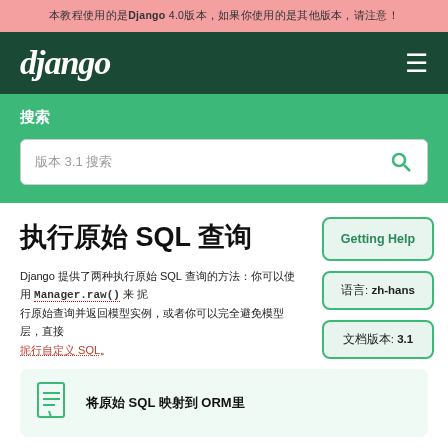本教程使用的是Django 4.0版本，如果你使用的是其他版本，请注意！
[Figure (logo): Django logo in white on dark green navbar with hamburger menu icon]
搜索
版本 3.1 搜索
执行原始 SQL 查询
Django 提供了两种执行原始 SQL 查询的方法：你可以使用 Manager.raw() 来 执行原始查询并返回模型实例，或者你可以完全避免模型层，直接执行自定义 SQL。
语言: zh-hans
文档版本: 3.1
将原始 SQL 映射到 ORM里